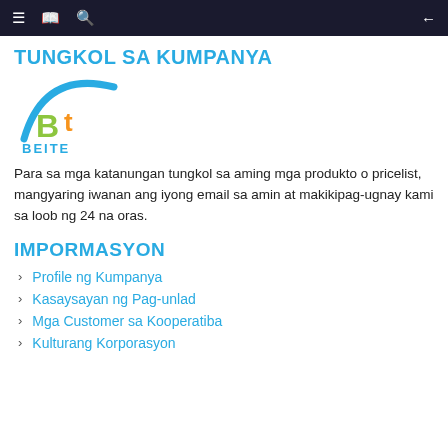navigation bar with menu, book, search icons and back arrow
TUNGKOL SA KUMPANYA
[Figure (logo): BEITE company logo with blue arc and green B, orange t letters]
Para sa mga katanungan tungkol sa aming mga produkto o pricelist, mangyaring iwanan ang iyong email sa amin at makikipag-ugnay kami sa loob ng 24 na oras.
IMPORMASYON
Profile ng Kumpanya
Kasaysayan ng Pag-unlad
Mga Customer sa Kooperatiba
Kulturang Korporasyon